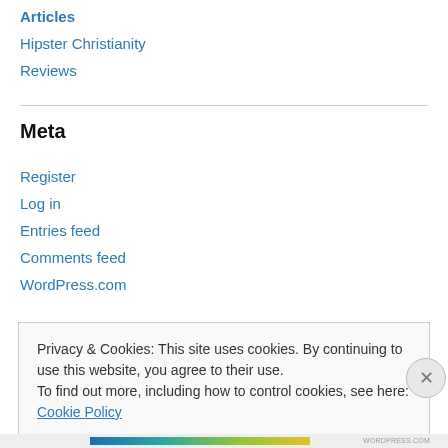Articles
Hipster Christianity
Reviews
Meta
Register
Log in
Entries feed
Comments feed
WordPress.com
Privacy & Cookies: This site uses cookies. By continuing to use this website, you agree to their use.
To find out more, including how to control cookies, see here: Cookie Policy